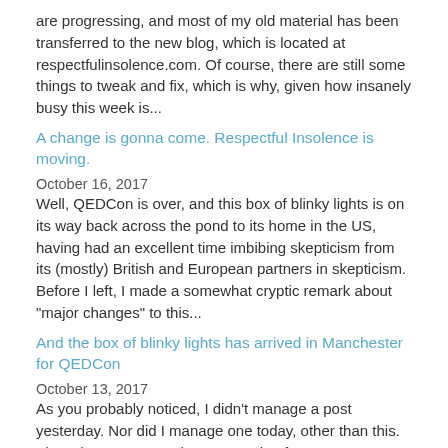are progressing, and most of my old material has been transferred to the new blog, which is located at respectfulinsolence.com. Of course, there are still some things to tweak and fix, which is why, given how insanely busy this week is...
A change is gonna come. Respectful Insolence is moving.
October 16, 2017
Well, QEDCon is over, and this box of blinky lights is on its way back across the pond to its home in the US, having had an excellent time imbibing skepticism from its (mostly) British and European partners in skepticism. Before I left, I made a somewhat cryptic remark about "major changes" to this...
And the box of blinky lights has arrived in Manchester for QEDCon
October 13, 2017
As you probably noticed, I didn't manage a post yesterday. Nor did I manage one today, other than this. That's because I was busy preparing for QEDCon, where I will be on a panel and giving a talk, and, of course, putting together my talk. As I write this, I'm horrendously jet lagged; so I probably...
On the "integration" of quackery into the medical school